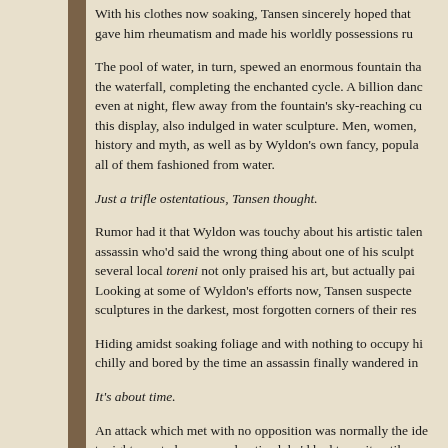With his clothes now soaking, Tansen sincerely hoped that … gave him rheumatism and made his worldly possessions ru…
The pool of water, in turn, spewed an enormous fountain tha… the waterfall, completing the enchanted cycle. A billion danc… even at night, flew away from the fountain’s sky-reaching cu… this display, also indulged in water sculpture. Men, women, … history and myth, as well as by Wyldon’s own fancy, popula… all of them fashioned from water.
Just a trifle ostentatious, Tansen thought.
Rumor had it that Wyldon was touchy about his artistic talen… assassin who’d said the wrong thing about one of his sculpt… several local toreni not only praised his art, but actually pai… Looking at some of Wyldon’s efforts now, Tansen suspecte… sculptures in the darkest, most forgotten corners of their res…
Hiding amidst soaking foliage and with nothing to occupy hi… chilly and bored by the time an assassin finally wandered in…
It’s about time.
An attack which met with no opposition was normally the ide… tonight was to be seen and noticed, he’d had to wait until no…